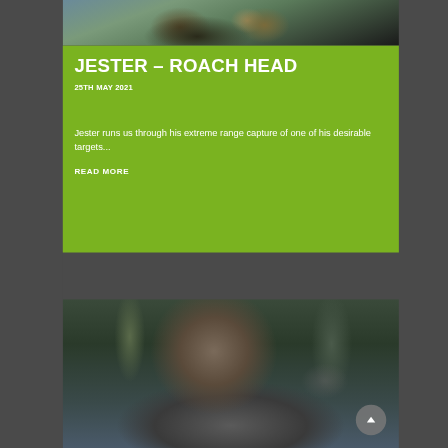[Figure (photo): Top portion of a person holding a large fish, dark background, partial view cropped at top]
JESTER – ROACH HEAD
25TH MAY 2021
Jester runs us through his extreme range capture of one of his desirable targets...
READ MORE
[Figure (photo): Man wearing dark green beanie hat and khaki jacket, smiling, holding a large dark-colored fish, outdoor winter setting with trees in background]